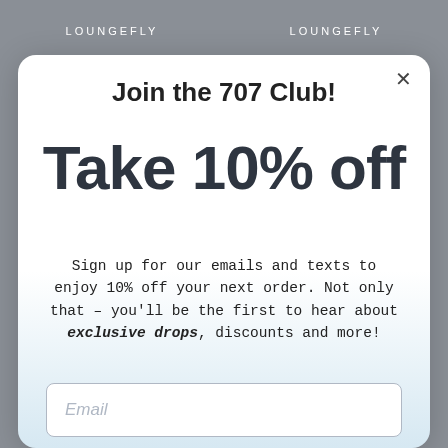LOUNGEFLY   LOUNGEFLY
Join the 707 Club!
Take 10% off
Sign up for our emails and texts to enjoy 10% off your next order. Not only that – you'll be the first to hear about exclusive drops, discounts and more!